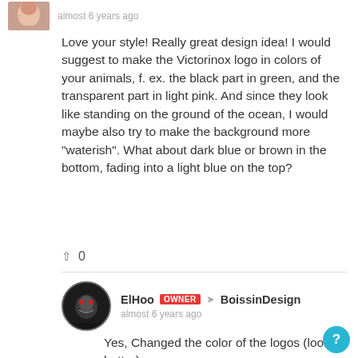[Figure (photo): Small partial avatar photo of a person at the top left]
almost 6 years ago
Love your style! Really great design idea! I would suggest to make the Victorinox logo in colors of your animals, f. ex. the black part in green, and the transparent part in light pink. And since they look like standing on the ground of the ocean, I would maybe also try to make the background more "waterish". What about dark blue or brown in the bottom, fading into a light blue on the top?
0
[Figure (photo): Circular avatar of ElHoo showing a skull-like dark design]
ElHoo OWNER → BoissinDesign
almost 6 years ago
Yes, Changed the color of the logos (looks better) , about the background, I like the sticker style and use